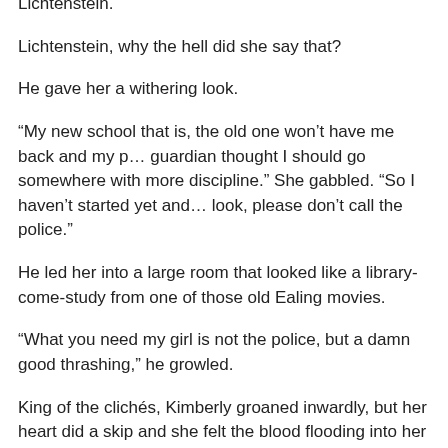Lichtenstein.
Lichtenstein, why the hell did she say that?
He gave her a withering look.
“My new school that is, the old one won’t have me back and my p… guardian thought I should go somewhere with more discipline.” She gabbled. “So I haven’t started yet and… look, please don’t call the police.”
He led her into a large room that looked like a library-come-study from one of those old Ealing movies.
“What you need my girl is not the police, but a damn good thrashing,” he growled.
King of the clichés, Kimberly groaned inwardly, but her heart did a skip and she felt the blood flooding into her